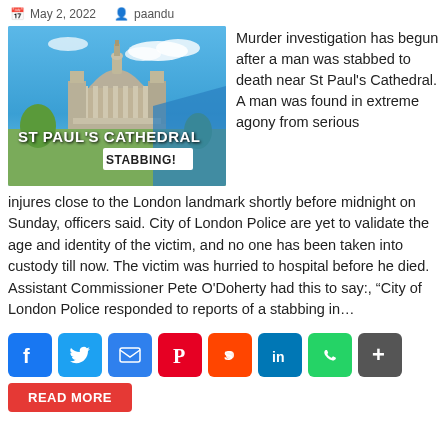May 2, 2022   paandu
[Figure (photo): Photo of St Paul's Cathedral in London with overlay text 'ST PAUL'S CATHEDRAL STABBING!']
Murder investigation has begun after a man was stabbed to death near St Paul's Cathedral. A man was found in extreme agony from serious injures close to the London landmark shortly before midnight on Sunday, officers said. City of London Police are yet to validate the age and identity of the victim, and no one has been taken into custody till now. The victim was hurried to hospital before he died. Assistant Commissioner Pete O'Doherty had this to say:, “City of London Police responded to reports of a stabbing in...
[Figure (infographic): Social share buttons: Facebook, Twitter, Email, Pinterest, Reddit, LinkedIn, WhatsApp, More]
READ MORE